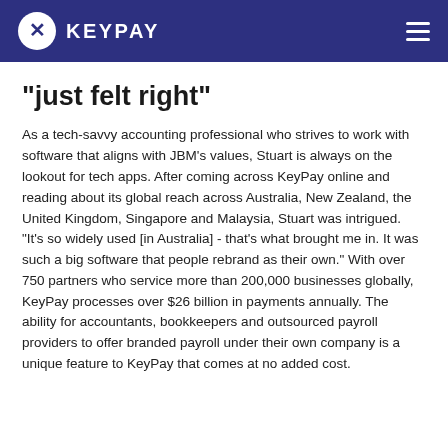KEYPAY
“just felt right”
As a tech-savvy accounting professional who strives to work with software that aligns with JBM’s values, Stuart is always on the lookout for tech apps. After coming across KeyPay online and reading about its global reach across Australia, New Zealand, the United Kingdom, Singapore and Malaysia, Stuart was intrigued. “It’s so widely used [in Australia] - that’s what brought me in. It was such a big software that people rebrand as their own.” With over 750 partners who service more than 200,000 businesses globally, KeyPay processes over $26 billion in payments annually. The ability for accountants, bookkeepers and outsourced payroll providers to offer branded payroll under their own company is a unique feature to KeyPay that comes at no added cost.